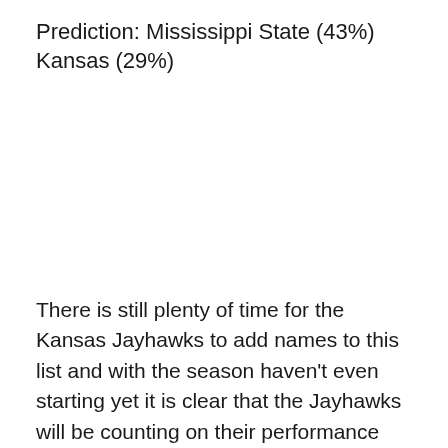Prediction: Mississippi State (43%) Kansas (29%)
There is still plenty of time for the Kansas Jayhawks to add names to this list and with the season haven't even starting yet it is clear that the Jayhawks will be counting on their performance this season to lure in recruits. Arguably the best recruiting tactic the